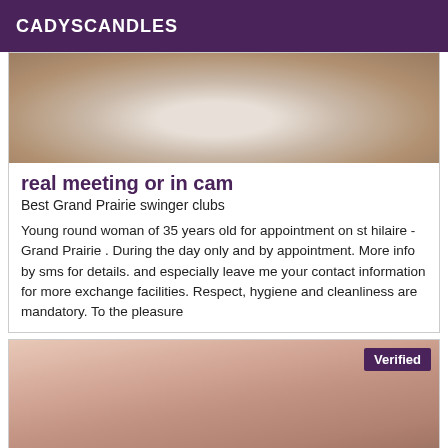CADYSCANDLES
[Figure (photo): Close-up photo with skin tones and light colored fabric]
real meeting or in cam
Best Grand Prairie swinger clubs
Young round woman of 35 years old for appointment on st hilaire - Grand Prairie . During the day only and by appointment. More info by sms for details. and especially leave me your contact information for more exchange facilities. Respect, hygiene and cleanliness are mandatory. To the pleasure
[Figure (photo): Photo with a Verified badge in the top right corner]